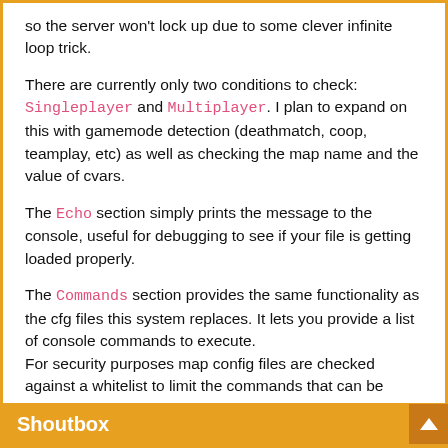so the server won't lock up due to some clever infinite loop trick.
There are currently only two conditions to check: Singleplayer and Multiplayer. I plan to expand on this with gamemode detection (deathmatch, coop, teamplay, etc) as well as checking the map name and the value of cvars.
The Echo section simply prints the message to the console, useful for debugging to see if your file is getting loaded properly.
The Commands section provides the same functionality as the cfg files this system replaces. It lets you provide a list of console commands to execute. For security purposes map config files are checked against a whitelist to limit the commands that can be executed. This prevents maps from doing things like changing the RCON
Shoutbox